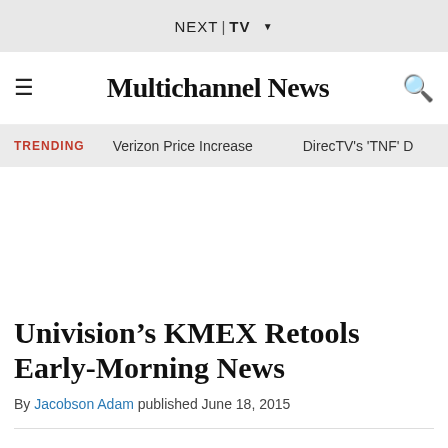NEXT TV
Multichannel News
TRENDING   Verizon Price Increase   DirecTV's 'TNF' D
Univision’s KMEX Retools Early-Morning News
By Jacobson Adam published June 18, 2015